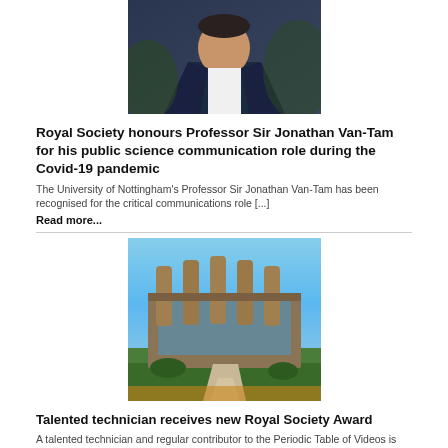[Figure (photo): Portrait photo of Professor Sir Jonathan Van-Tam in a dark suit with pink tie]
Royal Society honours Professor Sir Jonathan Van-Tam for his public science communication role during the Covid-19 pandemic
The University of Nottingham's Professor Sir Jonathan Van-Tam has been recognised for the critical communications role [...]
Read more...
[Figure (photo): Photo of a modern university building with distinctive architectural fins, blue sky and landscaped gardens]
Talented technician receives new Royal Society Award
A talented technician and regular contributor to the Periodic Table of Videos is one of the [...]
Read more...
Inspirational alumni receive recognition during summer graduation
Offer for unpaid carers at the University of Nottingham